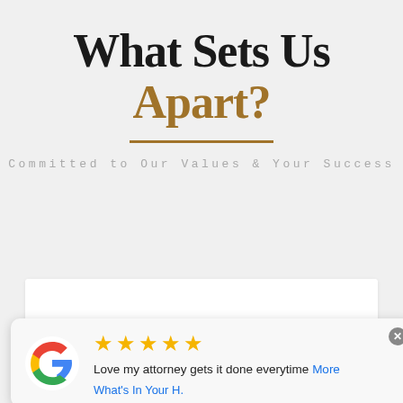What Sets Us Apart?
Committed to Our Values & Your Success
[Figure (illustration): White card with person/chat icon partially visible]
[Figure (other): Google review popup with 5 stars, Google G logo, review text 'Love my attorney gets it done everytime More', reviewer 'What's In Your H.']